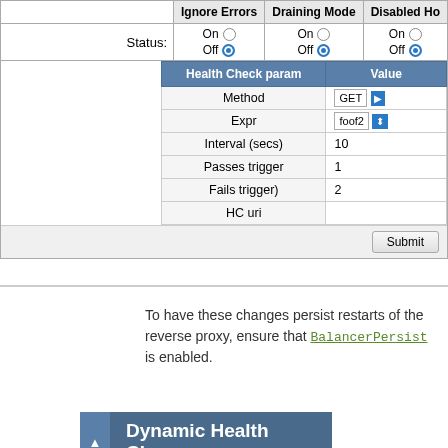|  | Ignore Errors | Draining Mode | Disabled Ho |
| --- | --- | --- | --- |
| Status: | On (radio) / Off (selected) | On (radio) / Off (selected) | On (radio) / Off (selected) |
| Health Check param | Value |
| --- | --- |
| Method | GET |
| Expr | foof2 |
| Interval (secs) | 10 |
| Passes trigger | 1 |
| Fails trigger) | 2 |
| HC uri |  |
To have these changes persist restarts of the reverse proxy, ensure that BalancerPersist is enabled.
Dynamic Health Che...